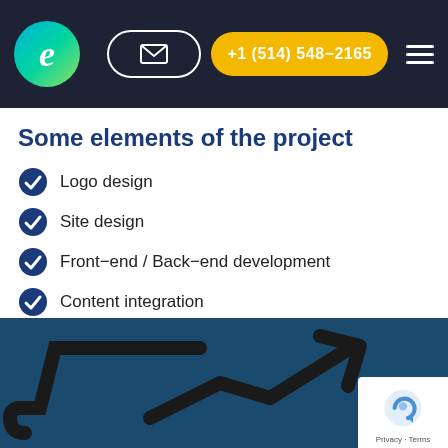e | email icon | +1 (514) 548-2165 | menu
Some elements of the project
Logo design
Site design
Front-end / Back-end development
Content integration
Website optimization
Optimization for better positioning on Google
[Figure (illustration): Dark blue section with a large upward trending arrow/chart icon suggesting growth or analytics]